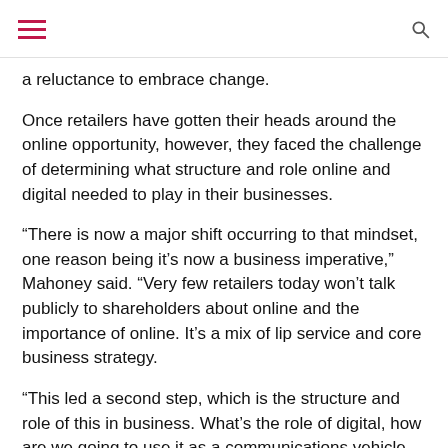[hamburger menu icon] [search icon]
a reluctance to embrace change.
Once retailers have gotten their heads around the online opportunity, however, they faced the challenge of determining what structure and role online and digital needed to play in their businesses.
“There is now a major shift occurring to that mindset, one reason being it’s now a business imperative,” Mahoney said. “Very few retailers today won’t talk publicly to shareholders about online and the importance of online. It’s a mix of lip service and core business strategy.
“This led a second step, which is the structure and role of this in business. What’s the role of digital, how are we going to use it as a communications vehicle and what analytics we put behind it; then finally the role of ecommerce in the business. Some businesses embrace it, others still resist.”
Getting the capability and resources to support this is a major challenge in the local marketplace, Mahoney said.